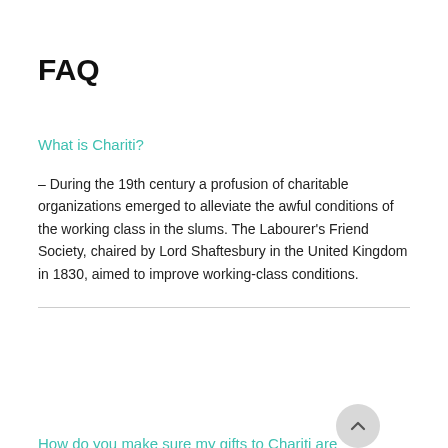FAQ
What is Chariti?
– During the 19th century a profusion of charitable organizations emerged to alleviate the awful conditions of the working class in the slums. The Labourer's Friend Society, chaired by Lord Shaftesbury in the United Kingdom in 1830, aimed to improve working-class conditions.
How do you make sure my gifts to Chariti are spent wisely?